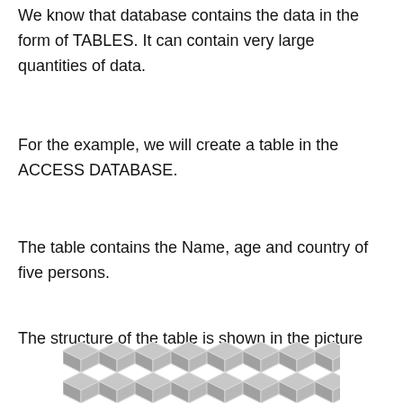We know that database contains the data in the form of TABLES. It can contain very large quantities of data.
For the example, we will create a table in the ACCESS DATABASE.
The table contains the Name, age and country of five persons.
The structure of the table is shown in the picture
[Figure (screenshot): Partial screenshot of an Access database table structure shown at the bottom of the page, with a geometric/diamond pattern placeholder graphic in gray tones.]